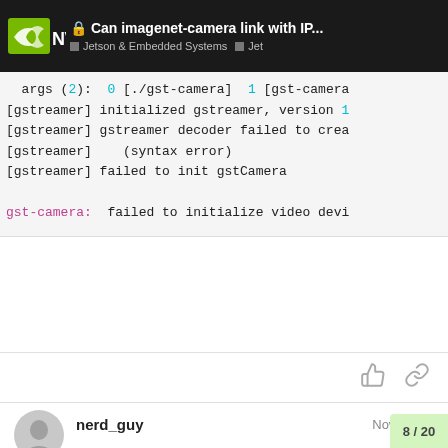Can imagenet-camera link with IP... | Jetson & Embedded Systems | Jet
args (2):  0 [./gst-camera]  1 [gst-camera
[gstreamer] initialized gstreamer, version 1
[gstreamer] gstreamer decoder failed to crea
[gstreamer]    (syntax error)
[gstreamer] failed to init gstCamera

gst-camera:  failed to initialize video devi
nerd_guy   Nov 28 '17
Hi Aastalll,
For the issue is it due to GST_PLUGIN_PATH pointing towards the wrong folder? How can I check if it is pointing towards the wrong folder?